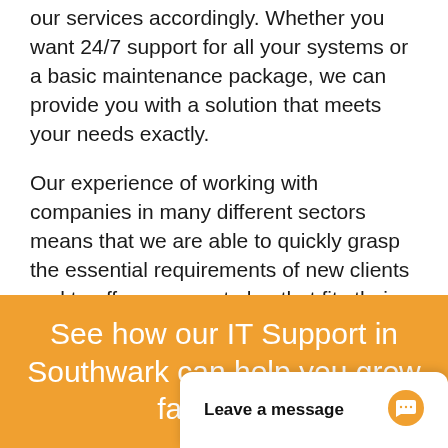our services accordingly. Whether you want 24/7 support for all your systems or a basic maintenance package, we can provide you with a solution that meets your needs exactly.
Our experience of working with companies in many different sectors means that we are able to quickly grasp the essential requirements of new clients and to offer a support plan that fits their needs and budgets perfectly.
See how our IT Support in Southwark can help you grow faster an...
Leave a message